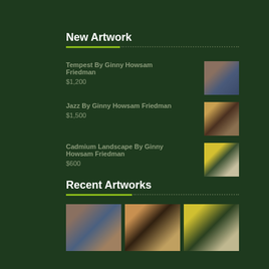New Artwork
Tempest By Ginny Howsam Friedman
$1,200
Jazz By Ginny Howsam Friedman
$1,500
Cadmium Landscape By Ginny Howsam Friedman
$600
Recent Artworks
[Figure (photo): Three small artwork thumbnails: Tempest, Jazz, Cadmium Landscape paintings by Ginny Howsam Friedman]